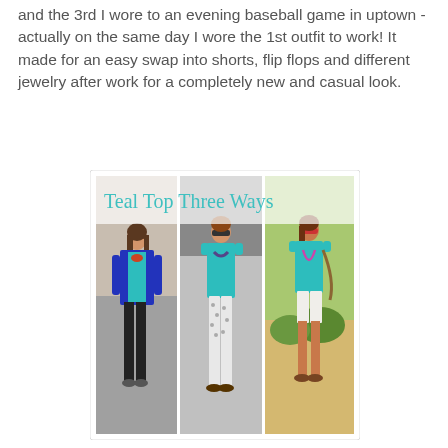and the 3rd I wore to an evening baseball game in uptown - actually on the same day I wore the 1st outfit to work! It made for an easy swap into shorts, flip flops and different jewelry after work for a completely new and casual look.
[Figure (photo): Fashion collage titled 'Teal Top Three Ways' showing three side-by-side photos of a woman wearing the same teal top styled three different ways: (1) with a royal blue blazer and black pants, (2) with patterned white pants and a statement necklace, (3) with white shorts and sunglasses at an outdoor venue.]